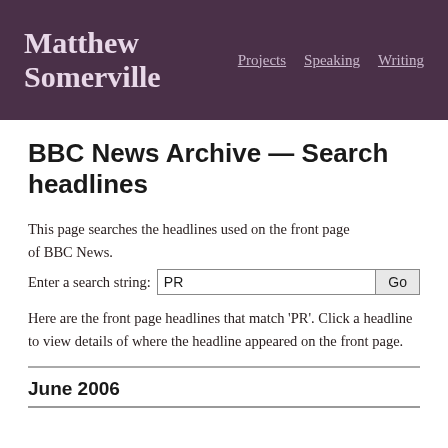Matthew Somerville — Projects  Speaking  Writing
BBC News Archive — Search headlines
This page searches the headlines used on the front page of BBC News.
Enter a search string: PR  Go
Here are the front page headlines that match 'PR'. Click a headline to view details of where the headline appeared on the front page.
June 2006